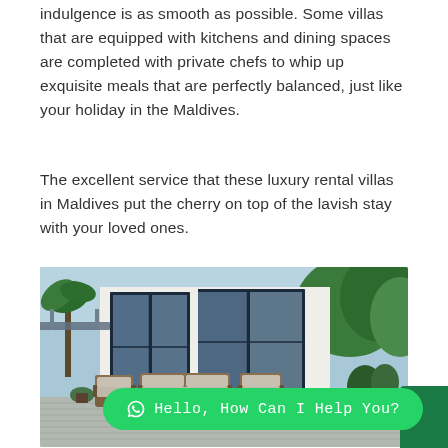indulgence is as smooth as possible. Some villas that are equipped with kitchens and dining spaces are completed with private chefs to whip up exquisite meals that are perfectly balanced, just like your holiday in the Maldives.
The excellent service that these luxury rental villas in Maldives put the cherry on top of the lavish stay with your loved ones.
[Figure (photo): Exterior photo of a luxury villa in the Maldives showing a wooden deck patio with rattan/wicker outdoor seating furniture, large floor-to-ceiling dark-framed glass windows and doors, white walls, green tropical plants and palm trees surrounding the property, with blue sky visible.]
Hello, How Can I Help You?